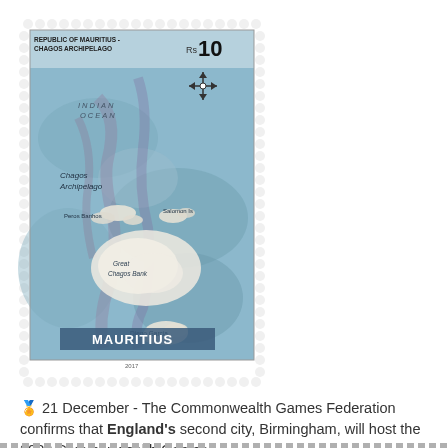[Figure (illustration): A postage stamp from the Republic of Mauritius depicting a map of the Chagos Archipelago in the Indian Ocean. The stamp shows a topographic/bathymetric map with labels including 'INDIAN OCEAN', 'Chagos Archipelago', 'Peros Banhos', 'Salomon Is', 'Great Chagos Bank', 'Diego Garcia', and 'MAURITIUS' at the bottom. The denomination is Rs 10. The stamp has a perforated border and shows the year 2017.]
🏅 21 December - The Commonwealth Games Federation confirms that England's second city, Birmingham, will host the 2022 Commonwealth Games.